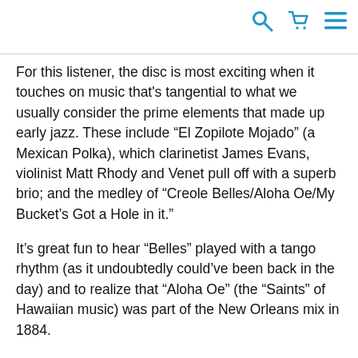[icons: search, cart, menu]
For this listener, the disc is most exciting when it touches on music that's tangential to what we usually consider the prime elements that made up early jazz. These include “El Zopilote Mojado” (a Mexican Polka), which clarinetist James Evans, violinist Matt Rhody and Venet pull off with a superb brio; and the medley of “Creole Belles/Aloha Oe/My Bucket’s Got a Hole in it.”
It’s great fun to hear “Belles” played with a tango rhythm (as it undoubtedly could’ve been back in the day) and to realize that “Aloha Oe” (the “Saints” of Hawaiian music) was part of the New Orleans mix in 1884.
This disc also presents Seva’s reimagining of what a quadrille might have sounded like by an 1880s New Orleans string band—an ambitious undertaking. By taking on this project, Venet has delved into areas where not many musicologists have wandered (though at the same time he